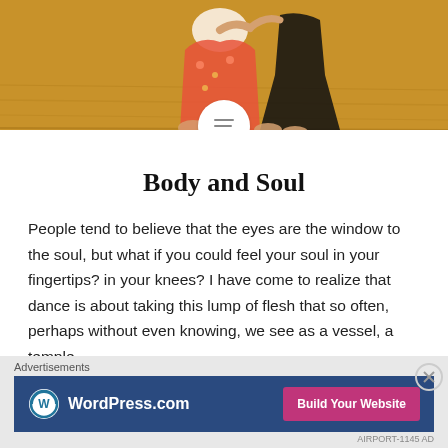[Figure (photo): Photo of two people sitting/kneeling on a wooden floor, one in a floral dress, viewed from waist down]
Body and Soul
People tend to believe that the eyes are the window to the soul, but what if you could feel your soul in your fingertips? in your knees? I have come to realize that dance is about taking this lump of flesh that so often, perhaps without even knowing, we see as a vessel, a temple...
READ MORE
Advertisements
[Figure (screenshot): WordPress.com advertisement banner with blue background, WordPress logo, and 'Build Your Website' pink button]